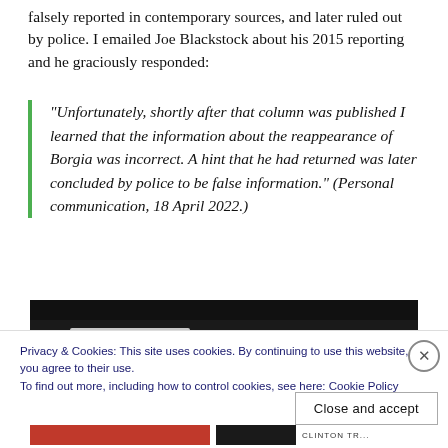falsely reported in contemporary sources, and later ruled out by police. I emailed Joe Blackstock about his 2015 reporting and he graciously responded:
“Unfortunately, shortly after that column was published I learned that the information about the reappearance of Borgia was incorrect. A hint that he had returned was later concluded by police to be false information.” (Personal communication, 18 April 2022.)
[Figure (photo): Partially visible image with dark background, partially obscured by cookie consent banner]
Privacy & Cookies: This site uses cookies. By continuing to use this website, you agree to their use.
To find out more, including how to control cookies, see here: Cookie Policy
Close and accept